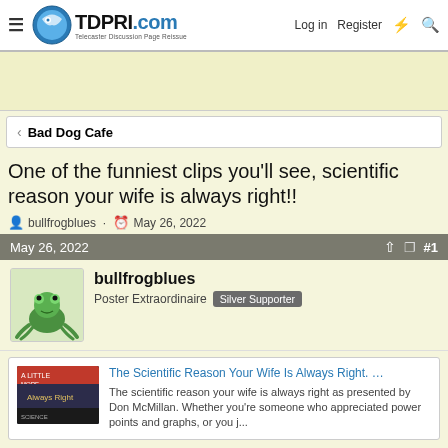TDPRI.com — Telecaster Discussion Page Reissue | Log in | Register
< Bad Dog Cafe
One of the funniest clips you'll see, scientific reason your wife is always right!!
bullfrogblues · May 26, 2022
May 26, 2022  #1
bullfrogblues
Poster Extraordinaire  Silver Supporter
The Scientific Reason Your Wife Is Always Right. …
The scientific reason your wife is always right as presented by Don McMillan. Whether you're someone who appreciated power points and graphs, or you j...